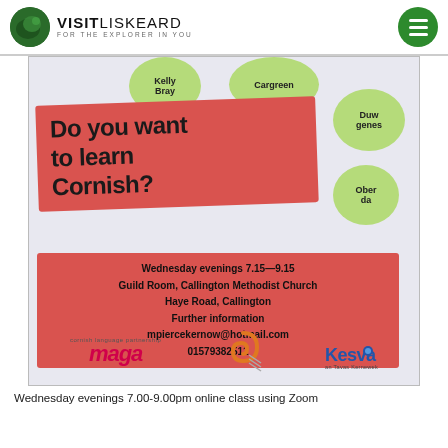[Figure (logo): Visit Liskeard logo with green circle icon and text 'VISIT LISKEARD - FOR THE EXPLORER IN YOU']
[Figure (infographic): Flyer for Cornish language classes. Contains green bubbles with Cornish words (Kelly Bray, Cargreen, Duw genes, Ober da), a red banner saying 'Do you want to learn Cornish?', an info box with Wednesday evenings 7.15-9.15, Guild Room Callington Methodist Church, Haye Road Callington, Further information, mpiercekernow@hotmail.com, 01579382511. Bottom logos: maga, spiral logo, Kesva.]
Wednesday evenings 7.00-9.00pm online class using Zoom